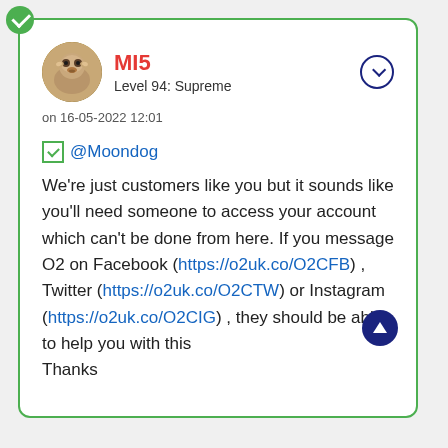MI5
Level 94: Supreme
on 16-05-2022 12:01
✅ @Moondog
We're just customers like you but it sounds like you'll need someone to access your account which can't be done from here. If you message O2 on Facebook (https://o2uk.co/O2CFB) , Twitter (https://o2uk.co/O2CTW) or Instagram (https://o2uk.co/O2CIG) , they should be able to help you with this
Thanks